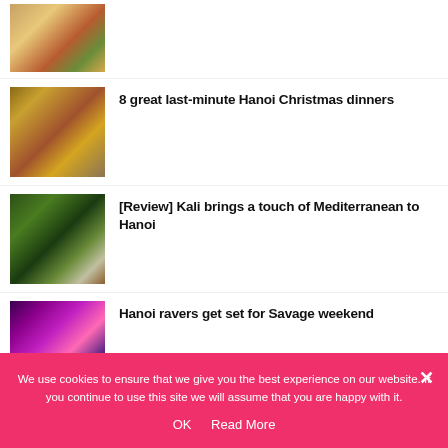[Figure (photo): Colorful food dish with vegetables and toppings, top portion cut off]
[Figure (photo): Christmas dinner spread with roasted turkey and side dishes]
8 great last-minute Hanoi Christmas dinners
[Figure (photo): Mediterranean food bowls with greens and various dishes]
[Review] Kali brings a touch of Mediterranean to Hanoi
[Figure (photo): Concert rave scene with purple/pink lighting and crowds]
Hanoi ravers get set for Savage weekend
[Figure (photo): Fitness star promotional image with pink background]
Hanoi Fitness Stars
We use cookies to ensure that we give you the best experience on our website. If you continue to use this site we will assume that you are happy with it.
OK   Read More